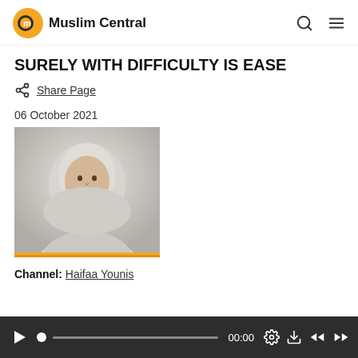Muslim Central
SURELY WITH DIFFICULTY IS EASE
Share Page
06 October 2021
[Figure (photo): Portrait photo of a woman wearing a white hijab, smiling, against a light background. Below the image is a yellow/gold bar.]
Channel: Haifaa Younis
[Figure (other): Audio player bar with play button, progress dot, progress bar, time display showing 00:00, settings gear icon, download icon, rewind icon, and fast-forward icon on a dark background.]